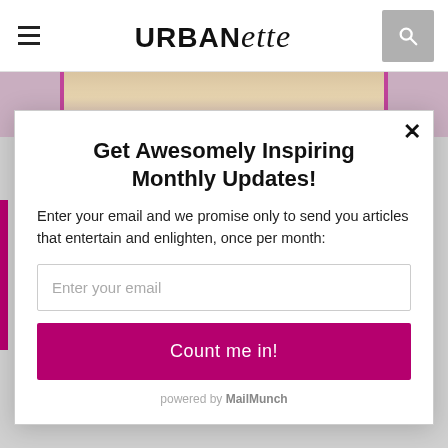URBANETTE
[Figure (photo): Partial photo of a blonde woman behind a modal dialog, with pink/mauve background tones]
Get Awesomely Inspiring Monthly Updates!
Enter your email and we promise only to send you articles that entertain and enlighten, once per month:
Enter your email
Count me in!
powered by MailMunch